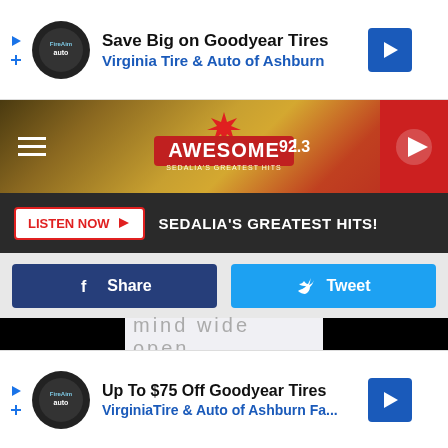[Figure (screenshot): Top advertisement banner: Save Big on Goodyear Tires - Virginia Tire & Auto of Ashburn]
[Figure (screenshot): Awesome 92.3 radio station header with hamburger menu, logo, and red play button]
[Figure (screenshot): Listen Now button bar with text SEDALIA'S GREATEST HITS!]
[Figure (screenshot): Social share buttons: Facebook Share and Twitter Tweet]
[Figure (screenshot): Media player area with black sidebars and mind wide open graphic with Google Play Music logo]
[Figure (screenshot): Bottom advertisement banner: Up To $75 Off Goodyear Tires - VirginiaTire & Auto of Ashburn Fa...]